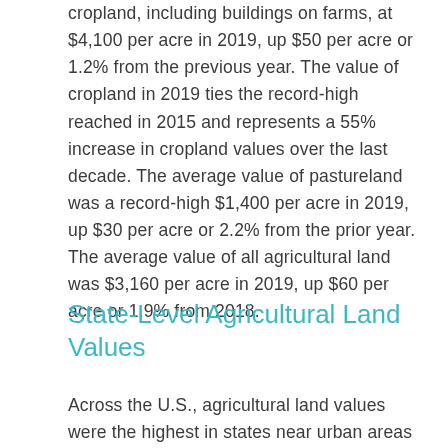cropland, including buildings on farms, at $4,100 per acre in 2019, up $50 per acre or 1.2% from the previous year. The value of cropland in 2019 ties the record-high reached in 2015 and represents a 55% increase in cropland values over the last decade. The average value of pastureland was a record-high $1,400 per acre in 2019, up $30 per acre or 2.2% from the prior year. The average value of all agricultural land was $3,160 per acre in 2019, up $60 per acre or 1.9% from 2018.
State-Level Agricultural Land Values
Across the U.S., agricultural land values were the highest in states near urban areas such as